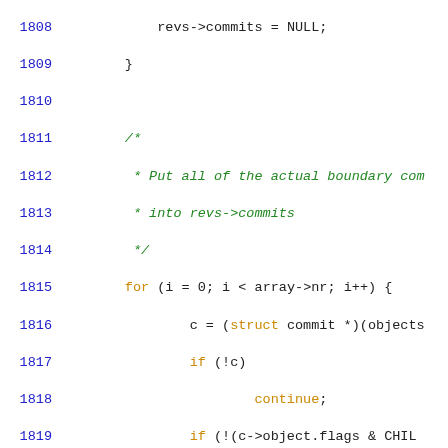[Figure (screenshot): Source code listing lines 1808-1837 of a C file showing boundary commit filtering logic and get_revision_internal function stub, with line numbers in blue, keywords in orange, comments in green italic, and identifiers in white/default.]